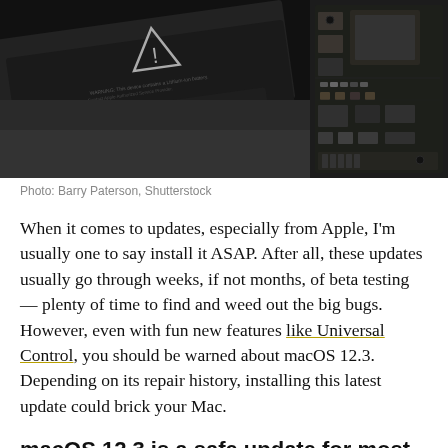[Figure (photo): Close-up photo of MacBook internals showing battery cells with warning triangle symbol and circuit board with chips and components, dark background]
Photo: Barry Paterson, Shutterstock
When it comes to updates, especially from Apple, I'm usually one to say install it ASAP. After all, these updates usually go through weeks, if not months, of beta testing — plenty of time to find and weed out the big bugs. However, even with fun new features like Universal Control, you should be warned about macOS 12.3. Depending on its repair history, installing this latest update could brick your Mac.
macOS 12.3 is a safe update for most Macs
It's possible you already updated to macOS 12.3 and didn't